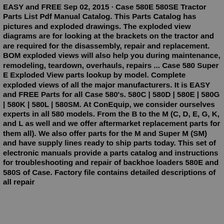EASY and FREE Sep 02, 2015 · Case 580E 580SE Tractor Parts List Pdf Manual Catalog. This Parts Catalog has pictures and exploded drawings. The exploded view diagrams are for looking at the brackets on the tractor and are required for the disassembly, repair and replacement. BOM exploded views will also help you during maintenance, remodeling, teardown, overhauls, repairs ... Case 580 Super E Exploded View parts lookup by model. Complete exploded views of all the major manufacturers. It is EASY and FREE Parts for all Case 580's. 580C | 580D | 580E | 580G | 580K | 580L | 580SM. At ConEquip, we consider ourselves experts in all 580 models. From the B to the M (C, D, E, G, K, and L as well and we offer aftermarket replacement parts for them all). We also offer parts for the M and Super M (SM) and have supply lines ready to ship parts today. This set of electronic manuals provide a parts catalog and instructions for troubleshooting and repair of backhoe loaders 580E and 580S of Case. Factory file contains detailed descriptions of all repair